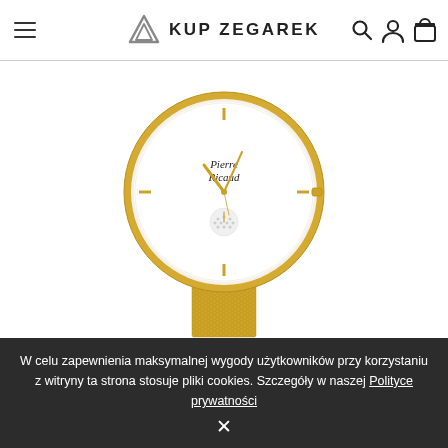KUP ZEGAREK
[Figure (photo): Pierre Ricaud gold-tone women's watch with white dial, gold hour markers, gold hands, small seconds sub-dial with crystal decoration, and gold mesh bracelet]
W celu zapewnienia maksymalnej wygody użytkowników przy korzystaniu z witryny ta strona stosuje pliki cookies. Szczegóły w naszej Polityce prywatności ✕